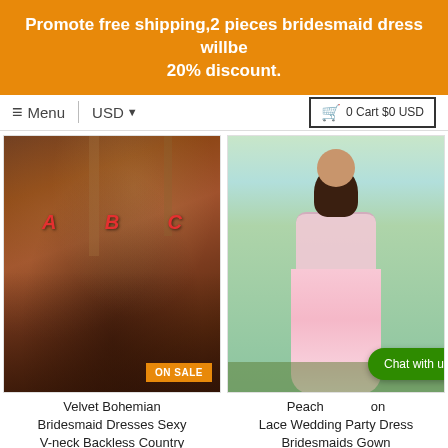Promote free shipping,2 pieces bridesmaid dress willbe 20% discount.
≡ Menu  |  USD ▼                              🛒 0 Cart $0 USD
[Figure (photo): Group of women wearing velvet bohemian bridesmaid dresses in rust/brown color standing in a forest setting with ON SALE badge, labeled A B C]
[Figure (photo): Woman wearing a peach/pink lace formal wedding party bridesmaid gown standing outdoors]
Velvet Bohemian Bridesmaid Dresses Sexy V-neck Backless Country
Peach ... on Lace Wedding Party Dress Bridesmaids Gown
Chat with us